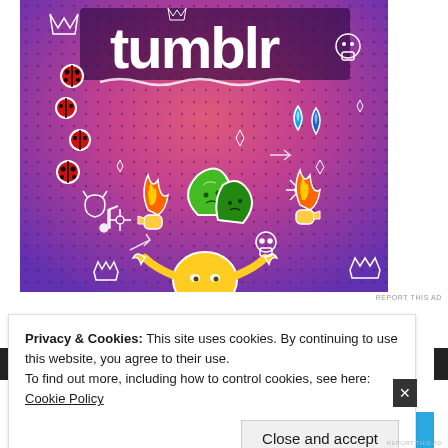[Figure (illustration): Tumblr advertisement banner with colorful gradient background (pink to purple), featuring the Tumblr logo in white/black text at top, cartoon sticker-style illustrations including ladybugs, leaf characters, fire hands, a round yellow creature, blue flame drops, and various doodles (crowns, skulls, music notes, arrows, stars) on a dotted background.]
REPORT THIS AD
Privacy & Cookies: This site uses cookies. By continuing to use this website, you agree to their use.
To find out more, including how to control cookies, see here: Cookie Policy
Close and accept
[Figure (illustration): Bottom blue strip showing partial Tumblr advertisement content with a blue background.]
REPORT THIS AD